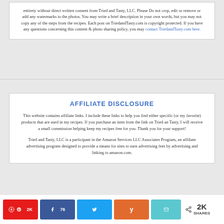entirety without direct written consent from Tried and Tasty, LLC. Please Do not crop, edit or remove or add any watermarks to the photos. You may write a brief description in your own words, but you may not copy any of the steps from the recipes. Each post on TriedandTasty.com is copyright protected. If you have any questions concerning this content & photo sharing policy, you may contact TriedandTasty.com here.
AFFILIATE DISCLOSURE
This website contains affiliate links. I include these links to help you find either specific (or my favorite) products that are used in my recipes. If you purchase an item from the link on Tried an Tasty, I will receive a small commission helping keep my recipes free for you. Thank you for your support!
Tried and Tasty, LLC is a participant in the Amazon Services LLC Associates Program, an affiliate advertising program designed to provide a means for sites to earn advertising fees by advertising and linking to amazon.com.
Pin 2K | Share 76 | Tweet | Yummly | Email | < 2K SHARES